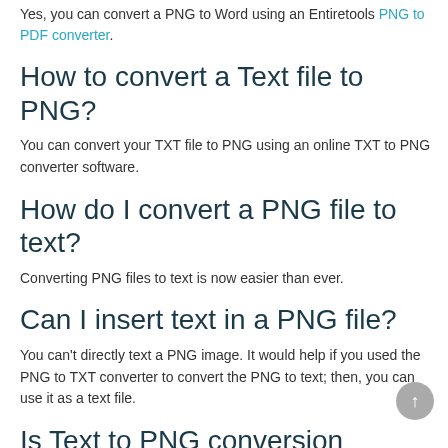Yes, you can convert a PNG to Word using an Entiretools PNG to PDF converter.
How to convert a Text file to PNG?
You can convert your TXT file to PNG using an online TXT to PNG converter software.
How do I convert a PNG file to text?
Converting PNG files to text is now easier than ever.
Can I insert text in a PNG file?
You can't directly text a PNG image. It would help if you used the PNG to TXT converter to convert the PNG to text; then, you can use it as a text file.
Is Text to PNG conversion secure?
Absolute, all your files are secure and safe, we do not have access to your files, and all the uploaded files are deleted after 1 hour.
You can also convert the PNG image file to PDF but it will...